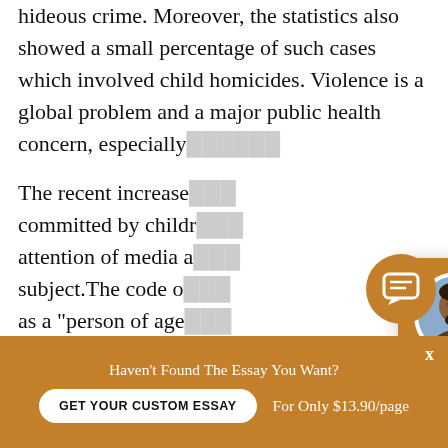hideous crime. Moreover, the statistics also showed a small percentage of such cases which involved child homicides. Violence is a global problem and a major public health concern, especially [obscured by popup]
The recent increase [obscured] committed by childr[en drew the] attention of media a[nd made the] subject. The code o[f...defines a child] as a "person of age[...] a case is deemed s[erious the juvenile] can be charged as [an adult for a] crime.
[Figure (other): Chat popup overlay with avatar of a man (Owen), greeting 'Hi! I'm Owen!', message asking about custom essay, and 'Check it out' link. Includes orange chat icon button.]
Haven't Found The Essay You Want?
GET YOUR CUSTOM ESSAY
For Only $13.90/page